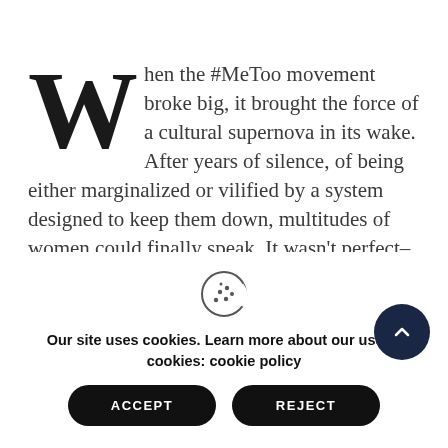When the #MeToo movement broke big, it brought the force of a cultural supernova in its wake. After years of silence, of being either marginalized or vilified by a system designed to keep them down, multitudes of women could finally speak. It wasn't perfect–this country still has too many hogs at the trough–but this had the feel of something important. Permission at...
Our site uses cookies. Learn more about our use of cookies: cookie policy